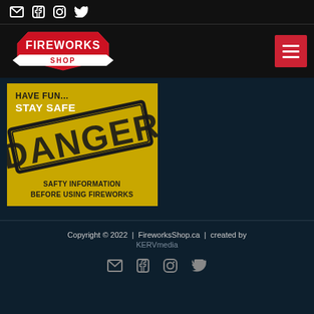Social icons: email, facebook, instagram, twitter
[Figure (logo): Fireworks Shop logo - red diamond shape with FIREWORKS SHOP text, and hamburger menu button (red square with three white lines)]
[Figure (photo): Safety banner image with yellow background showing the word DANGER in large black distressed letters, text reads HAVE FUN... STAY SAFE and SAFTY INFORMATION BEFORE USING FIREWORKS]
Copyright © 2022  |  FireworksShop.ca  |  created by KERVmedia
Social icons: email, facebook, instagram, twitter